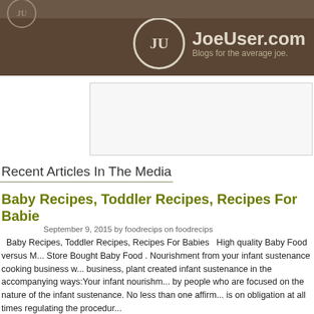JoeUser.com - Blogs for the average joe.
[Figure (other): Advertisement placeholder box]
Recent Articles In The Media
Baby Recipes, Toddler Recipes, Recipes For Babies
September 9, 2015 by foodrecips on foodrecips
Baby Recipes, Toddler Recipes, Recipes For Babies   High quality Baby Food versus M... Store Bought Baby Food . Nourishment from your infant sustenance cooking business w... business, plant created infant sustenance in the accompanying ways:Your infant nourishm... by people who are focused on the nature of the infant sustenance. No less than one affirm... is on obligation at all times regulating the procedur...
0 Comme